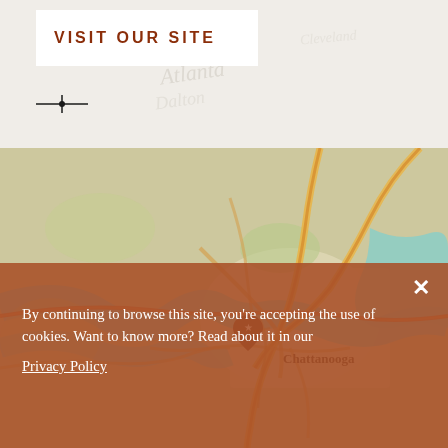VISIT OUR SITE
[Figure (map): Street map of Chattanooga area showing roads, waterways (Tennessee River), and terrain in muted beige, tan, orange, and teal colors. A location marker pin with a star is visible near the Chattanooga label.]
By continuing to browse this site, you're accepting the use of cookies. Want to know more? Read about it in our
Privacy Policy